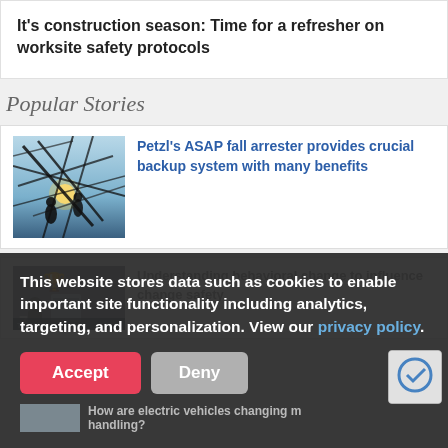It's construction season: Time for a refresher on worksite safety protocols
Popular Stories
Petzl's ASAP fall arrester provides crucial backup system with many benefits
[Figure (photo): Workers silhouetted against sunlight on a steel lattice tower or transmission structure]
Understanding behavioral change to influence change safety
[Figure (photo): Partially visible second story card with icon and book/document imagery]
This website stores data such as cookies to enable important site functionality including analytics, targeting, and personalization. View our privacy policy.
Accept
Deny
How are electric vehicles changing m handling?